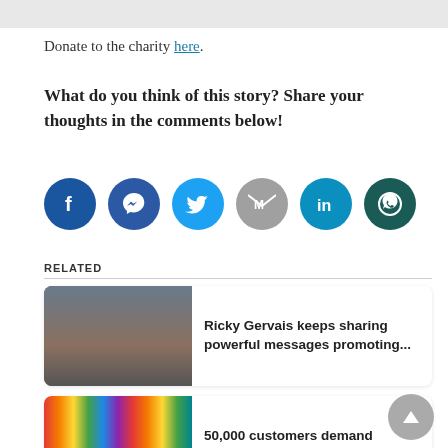Donate to the charity here.
What do you think of this story? Share your thoughts in the comments below!
[Figure (infographic): Six social media share buttons in circular icons: Facebook (dark blue), Messenger (dark blue), Twitter (light blue), Gmail (grey), LinkedIn (teal blue), WhatsApp (dark teal)]
RELATED
[Figure (photo): Photo of a man (Ricky Gervais) holding a black cat]
Ricky Gervais keeps sharing powerful messages promoting...
[Figure (photo): Photo of colourful plastic straws]
50,000 customers demand